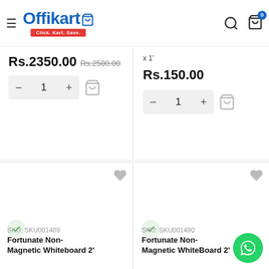Offikart - Click. Kart. Save.
x 1'
Rs.2350.00  Rs.2500.00
Rs.150.00
SKU: SKU001489
Fortunate Non-Magnetic Whiteboard 2'
SKU: SKU001490
Fortunate Non-Magnetic WhiteBoard 2'